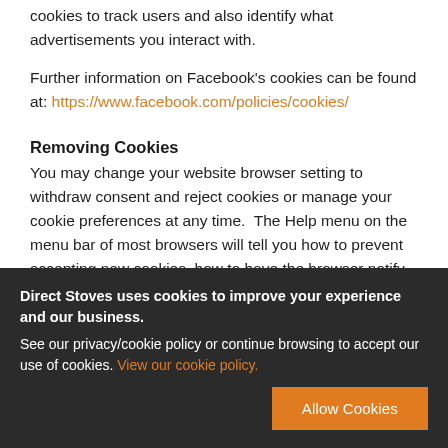cookies to track users and also identify what advertisements you interact with.
Further information on Facebook's cookies can be found at: https://www.facebook.com/policies/cookies/
Removing Cookies
You may change your website browser setting to withdraw consent and reject cookies or manage your cookie preferences at any time.  The Help menu on the menu bar of most browsers will tell you how to prevent accepting new cookies, how to have the browser notify you when you
Direct Stoves uses cookies to improve your experience and our business. See our privacy/cookie policy or continue browsing to accept our use of cookies. View our cookie policy.
Allow Cookies